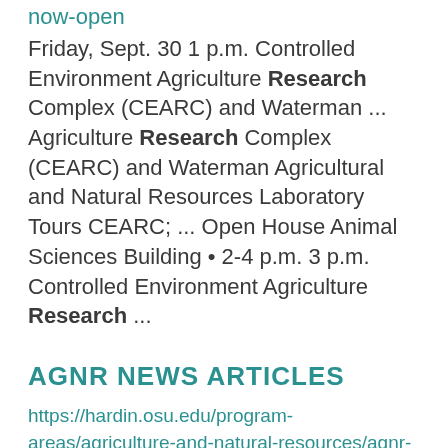now-open
Friday, Sept. 30 1 p.m. Controlled Environment Agriculture Research Complex (CEARC) and Waterman ... Agriculture Research Complex (CEARC) and Waterman Agricultural and Natural Resources Laboratory Tours CEARC; ... Open House Animal Sciences Building • 2-4 p.m. 3 p.m. Controlled Environment Agriculture Research ...
AGNR NEWS ARTICLES
https://hardin.osu.edu/program-areas/agriculture-and-natural-resources/agnr-news-articles
Application Forage Legume Stand